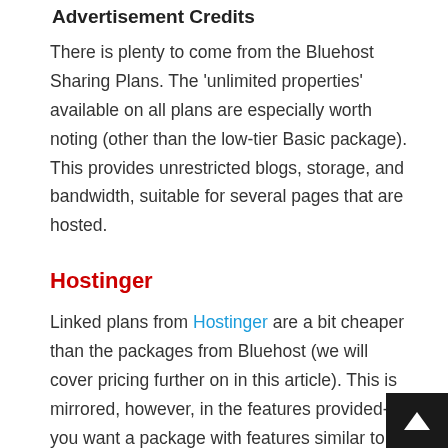Advertisement Credits
There is plenty to come from the Bluehost Sharing Plans. The ‘unlimited properties’ available on all plans are especially worth noting (other than the low-tier Basic package). This provides unrestricted blogs, storage, and bandwidth, suitable for several pages that are hosted.
Hostinger
Linked plans from Hostinger are a bit cheaper than the packages from Bluehost (we will cover pricing further on in this article). This is mirrored, however, in the features provided-if you want a package with features similar to those offered by Bluehost, you